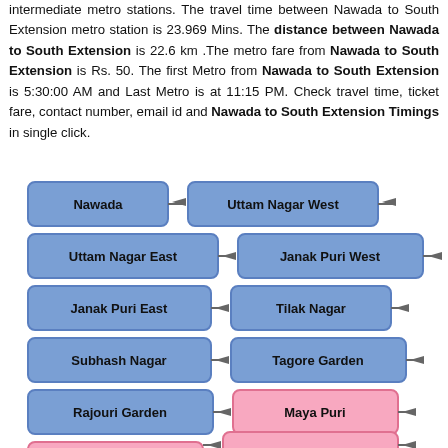intermediate metro stations. The travel time between Nawada to South Extension metro station is 23.969 Mins. The distance between Nawada to South Extension is 22.6 km .The metro fare from Nawada to South Extension is Rs. 50. The first Metro from Nawada to South Extension is 5:30:00 AM and Last Metro is at 11:15 PM. Check travel time, ticket fare, contact number, email id and Nawada to South Extension Timings in single click.
[Figure (flowchart): Metro route flowchart showing stations from Nawada to South Extension: Nawada → Uttam Nagar West → Uttam Nagar East → Janak Puri West → Janak Puri East → Tilak Nagar → Subhash Nagar → Tagore Garden → Rajouri Garden → Maya Puri → Naraina Vihar → Delhi Cantt → (continues). Blue boxes for most stations, pink boxes for Maya Puri, Naraina Vihar, Delhi Cantt and beyond.]